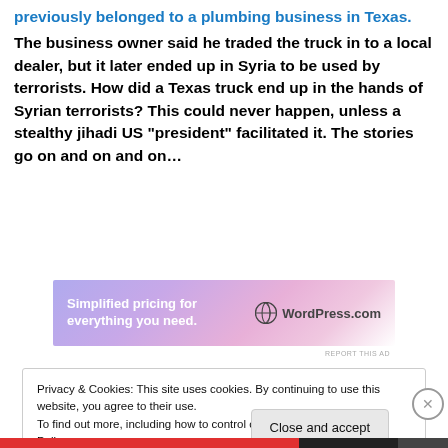previously belonged to a plumbing business in Texas. The business owner said he traded the truck in to a local dealer, but it later ended up in Syria to be used by terrorists. How did a Texas truck end up in the hands of Syrian terrorists? This could never happen, unless a stealthy jihadi US “president” facilitated it. The stories go on and on and on…
[Figure (other): WordPress.com advertisement banner: 'Simplified pricing for everything you need.' with WordPress.com logo]
REPORT THIS AD
Privacy & Cookies: This site uses cookies. By continuing to use this website, you agree to their use.
To find out more, including how to control cookies, see here: Cookie Policy
Close and accept